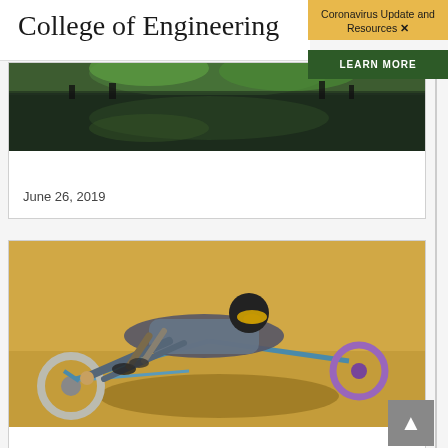College of Engineering
Coronavirus Update and Resources ×
LEARN MORE
June 26, 2019
[Figure (photo): Outdoor photo showing green plants/leaves reflected on water surface, people visible in background]
June 12, 2019
[Figure (photo): Athlete riding a hand cycle low to the ground, wearing yellow reflective sunglasses and a black helmet, smiling, on a flat surface]